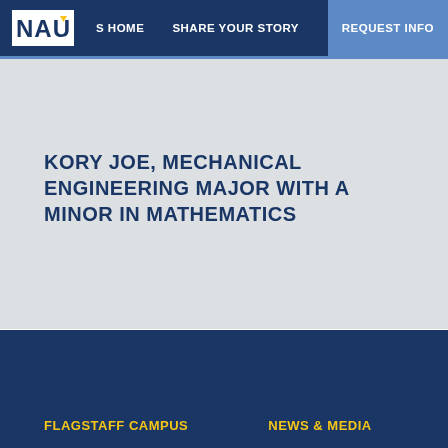NAU  S HOME  SHARE YOUR STORY  REQUEST INFO
KORY JOE, MECHANICAL ENGINEERING MAJOR WITH A MINOR IN MATHEMATICS
FLAGSTAFF CAMPUS  NEWS & MEDIA